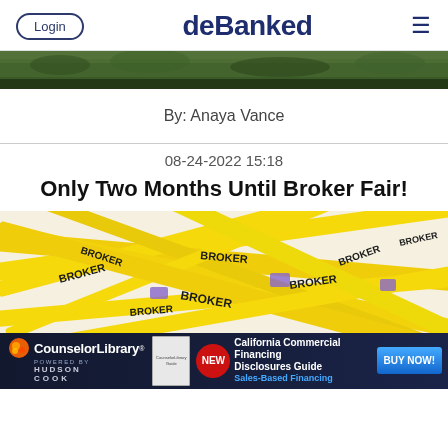Login | deBanked
[Figure (photo): Green foliage/hedge strip used as hero banner image]
By: Anaya Vance
08-24-2022 15:18
Only Two Months Until Broker Fair!
[Figure (photo): Yellow lanyards with BROKER text printed on them piled together]
[Figure (infographic): CounselorLibrary advertisement banner — California Commercial Financing Disclosures Guide, Sales-Based Financing, BUY NOW!]